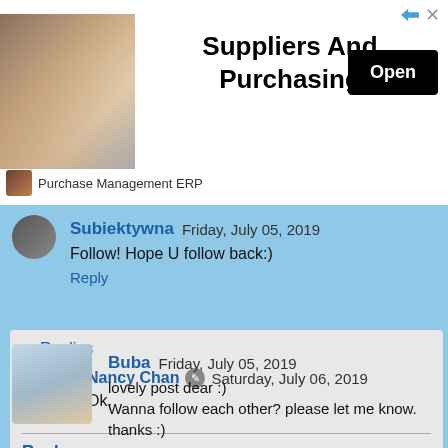[Figure (screenshot): Advertisement banner for Suppliers And Purchasing app with warehouse image and Open button]
Subiektywna Friday, July 05, 2019
Follow! Hope U follow back:)
Reply
Replies
Nancy Chan Saturday, July 06, 2019
Ok.
Reply
Buba Friday, July 05, 2019
lovely post dear :)
Wanna follow each other? please let me know. thanks :)